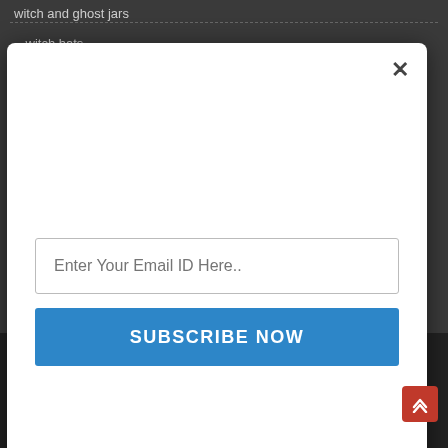witch and ghost jars
- witch hats
[Figure (screenshot): A modal dialog box with a white background and rounded corners, containing a close (×) button in the top right, a text input field with placeholder 'Enter Your Email ID Here..', and a blue 'SUBSCRIBE NOW' button below it.]
roasted...
[Figure (screenshot): An embedded video player showing 'Video unavailable - This video is unavailable' message with a warning icon circle, on a dark background.]